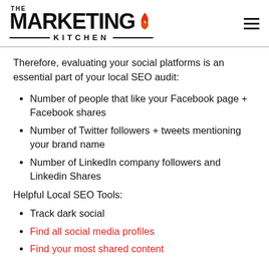THE MARKETING KITCHEN
Therefore, evaluating your social platforms is an essential part of your local SEO audit:
Number of people that like your Facebook page + Facebook shares
Number of Twitter followers + tweets mentioning your brand name
Number of LinkedIn company followers and Linkedin Shares
Helpful Local SEO Tools:
Track dark social
Find all social media profiles
Find your most shared content